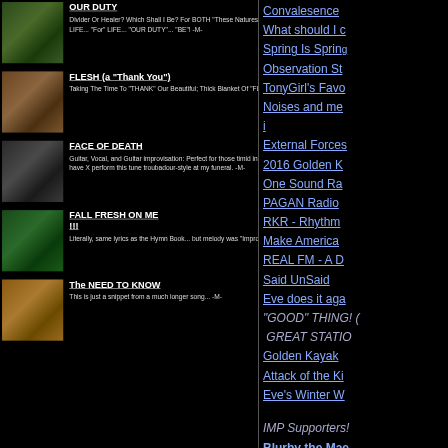OUR DUTY — Melodic Heavy Rock — Divider Or Healer? Which Shall I Be? For BOTH "These Natures"... Serve The TREE... "Of" LIFE... "About" LIFE... "For" LIFE... "OUR DUTY"... "BE"! -M-
FLESH (a "Thank You") — World Fusion — Taking The Time To "THANK" Our Beautiful; Thick Blanket Of "FLESH".
FACE OF DEATH — Acoustic Singer/Songwriter — Guitar, Vocal, and Guitar improvisation: Perfect for those timid in their feelings on death, I'd simply love to have X perform this tune troubadour-style at my funeral. -M-
FALL FRESH ON ME !!! — Old Time Gospel — Literally, same lyrics as the Hymn Book... but melody was "Improvised"
The NEED TO KNOW — Ambient Trance — This is just a snippet from a much longer song... -M-
Convalesence
What should I c
Spring Is Sprin
Observation St
TonyGirl's Favo
Noises and me
i
External Forces
2016 Golden K
One Sound Ra
PAGAN Radio
RKR - Rhythm
Make America
REAL FM - A D
Said UnSaid
Eve does it aga
"GOOD" THING! 
GREAT STATIO
Golden Kayak
Attack of the Ki
Eve's Winter W
IMP Supporters!
Blurby the Mae
ROOT FM - A D
Doc of Ages
SLAB FM - A D
Hottest